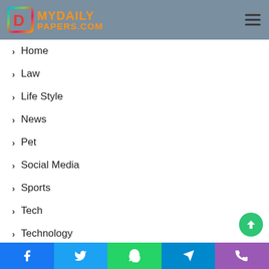[Figure (logo): MyDailyPapers.com logo with colorful D icon and orange text]
Home
Law
Life Style
News
Pet
Social Media
Sports
Tech
Technology
Travel
World
Facebook | Twitter | WhatsApp | Telegram | Phone